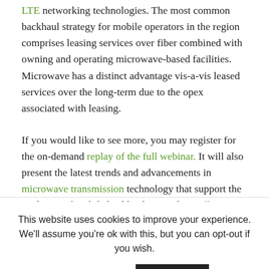LTE networking technologies. The most common backhaul strategy for mobile operators in the region comprises leasing services over fiber combined with owning and operating microwave-based facilities. Microwave has a distinct advantage vis-a-vis leased services over the long-term due to the opex associated with leasing.
If you would like to see more, you may register for the on-demand replay of the full webinar. It will also present the latest trends and advancements in microwave transmission technology that support the evolution of mobile backhaul networks to all-IP.
This website uses cookies to improve your experience. We'll assume you're ok with this, but you can opt-out if you wish. Cookie settings ACCEPT